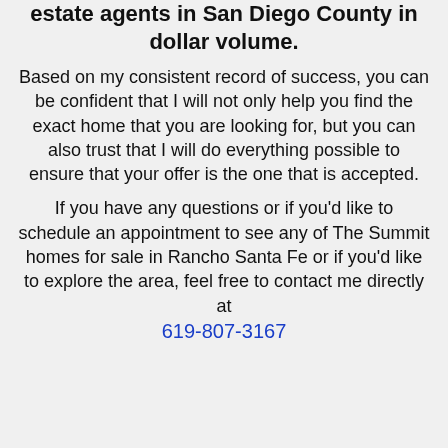estate agents in San Diego County in dollar volume.
Based on my consistent record of success, you can be confident that I will not only help you find the exact home that you are looking for, but you can also trust that I will do everything possible to ensure that your offer is the one that is accepted.
If you have any questions or if you’d like to schedule an appointment to see any of The Summit homes for sale in Rancho Santa Fe or if you’d like to explore the area, feel free to contact me directly at 619-807-3167